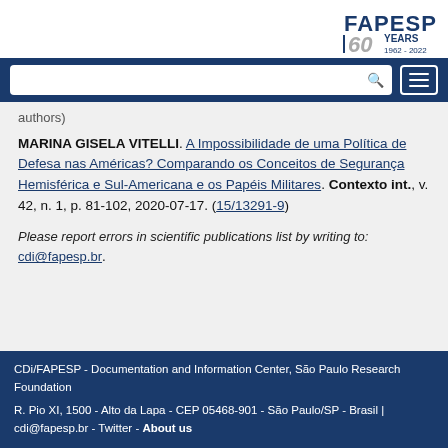[Figure (logo): FAPESP 60 YEARS 1962-2022 logo in top right]
[Figure (screenshot): Blue navigation bar with white search box and hamburger menu button]
authors)
MARINA GISELA VITELLI. A Impossibilidade de uma Política de Defesa nas Américas? Comparando os Conceitos de Segurança Hemisférica e Sul-Americana e os Papéis Militares. Contexto int., v. 42, n. 1, p. 81-102, 2020-07-17. (15/13291-9)
Please report errors in scientific publications list by writing to: cdi@fapesp.br.
CDi/FAPESP - Documentation and Information Center, São Paulo Research Foundation
R. Pio XI, 1500 - Alto da Lapa - CEP 05468-901 - São Paulo/SP - Brasil | cdi@fapesp.br - Twitter - About us